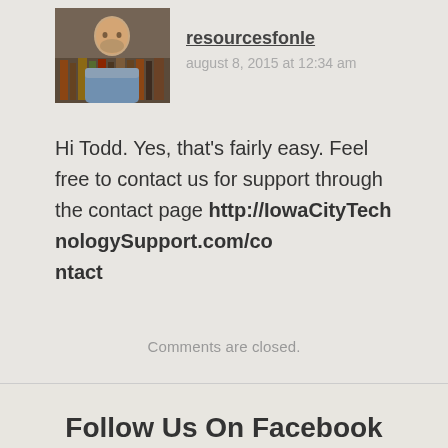[Figure (photo): Avatar photo of a middle-aged man with beard sitting in front of bookshelves]
resourcesfonle
august 8, 2015 at 12:34 am
Hi Todd. Yes, that's fairly easy. Feel free to contact us for support through the contact page http://IowaCityTechnologySupport.com/contact
Comments are closed.
Follow Us On Facebook